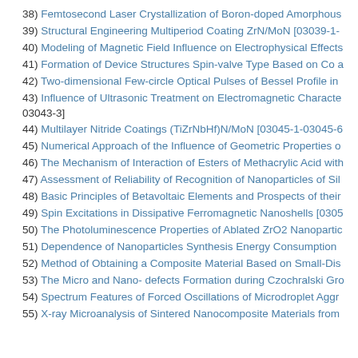38) Femtosecond Laser Crystallization of Boron-doped Amorphous...
39) Structural Engineering Multiperiod Coating ZrN/MoN [03039-1-...
40) Modeling of Magnetic Field Influence on Electrophysical Effects...
41) Formation of Device Structures Spin-valve Type Based on Co a...
42) Two-dimensional Few-circle Optical Pulses of Bessel Profile in...
43) Influence of Ultrasonic Treatment on Electromagnetic Characte... 03043-3]
44) Multilayer Nitride Coatings (TiZrNbHf)N/MoN [03045-1-03045-6...
45) Numerical Approach of the Influence of Geometric Properties o...
46) The Mechanism of Interaction of Esters of Methacrylic Acid with...
47) Assessment of Reliability of Recognition of Nanoparticles of Sil...
48) Basic Principles of Betavoltaic Elements and Prospects of their...
49) Spin Excitations in Dissipative Ferromagnetic Nanoshells [0305...
50) The Photoluminescence Properties of Ablated ZrO2 Nanopartic...
51) Dependence of Nanoparticles Synthesis Energy Consumption ...
52) Method of Obtaining a Composite Material Based on Small-Dis...
53) The Micro and Nano- defects Formation during Czochralski Gro...
54) Spectrum Features of Forced Oscillations of Microdroplet Aggr...
55) X-ray Microanalysis of Sintered Nanocomposite Materials from...